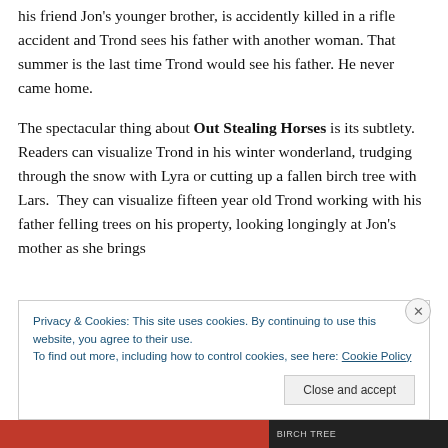There is also tragedy during this summer as a young boy, his friend Jon's younger brother, is accidently killed in a rifle accident and Trond sees his father with another woman. That summer is the last time Trond would see his father. He never came home.

The spectacular thing about Out Stealing Horses is its subtlety. Readers can visualize Trond in his winter wonderland, trudging through the snow with Lyra or cutting up a fallen birch tree with Lars.  They can visualize fifteen year old Trond working with his father felling trees on his property, looking longingly at Jon's mother as she brings
Privacy & Cookies: This site uses cookies. By continuing to use this website, you agree to their use.
To find out more, including how to control cookies, see here: Cookie Policy